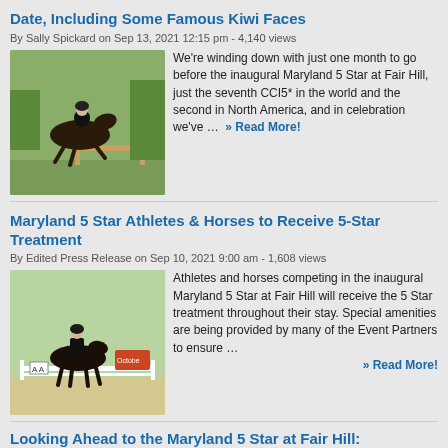Date, Including Some Famous Kiwi Faces
By Sally Spickard on Sep 13, 2021 12:15 pm - 4,140 views
[Figure (photo): Rider on horse jumping over fence in equestrian event]
We're winding down with just one month to go before the inaugural Maryland 5 Star at Fair Hill, just the seventh CCI5* in the world and the second in North America, and in celebration we've ... » Read More!
Maryland 5 Star Athletes & Horses to Receive 5-Star Treatment
By Edited Press Release on Sep 10, 2021 9:00 am - 1,608 views
[Figure (photo): Rider on horse performing dressage at Maryland 5 Star]
Athletes and horses competing in the inaugural Maryland 5 Star at Fair Hill will receive the 5 Star treatment throughout their stay. Special amenities are being provided by many of the Event Partners to ensure ... » Read More!
Looking Ahead to the Maryland 5 Star at Fair Hill: